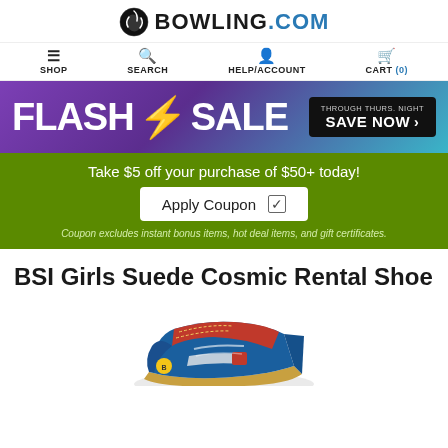BOWLING.COM
SHOP  SEARCH  HELP/ACCOUNT  CART (0)
[Figure (screenshot): FLASH SALE banner with lightning bolt on purple-to-teal gradient background, with SAVE NOW button]
Take $5 off your purchase of $50+ today!
Apply Coupon ☑
Coupon excludes instant bonus items, hot deal items, and gift certificates.
BSI Girls Suede Cosmic Rental Shoe
[Figure (photo): Photo of BSI Girls Suede Cosmic Rental Shoe - a blue and red bowling shoe for girls]